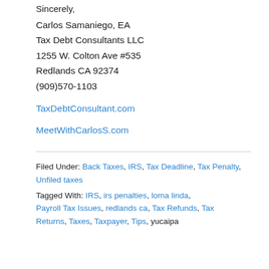Sincerely,
Carlos Samaniego, EA
Tax Debt Consultants LLC
1255 W. Colton Ave #535
Redlands CA 92374
(909)570-1103
TaxDebtConsultant.com
MeetWithCarlosS.com
Filed Under: Back Taxes, IRS, Tax Deadline, Tax Penalty, Unfiled taxes
Tagged With: IRS, irs penalties, loma linda, Payroll Tax Issues, redlands ca, Tax Refunds, Tax Returns, Taxes, Taxpayer, Tips, yucaipa